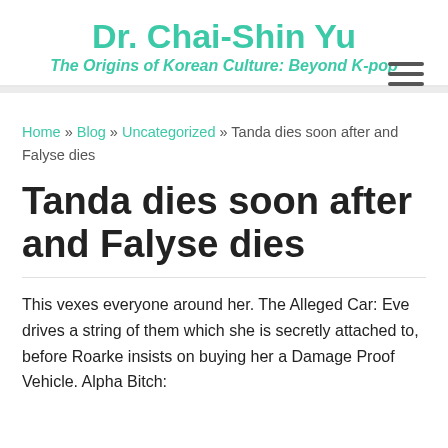Dr. Chai-Shin Yu
The Origins of Korean Culture: Beyond K-pop
Home » Blog » Uncategorized » Tanda dies soon after and Falyse dies
Tanda dies soon after and Falyse dies
This vexes everyone around her. The Alleged Car: Eve drives a string of them which she is secretly attached to, before Roarke insists on buying her a Damage Proof Vehicle. Alpha Bitch: